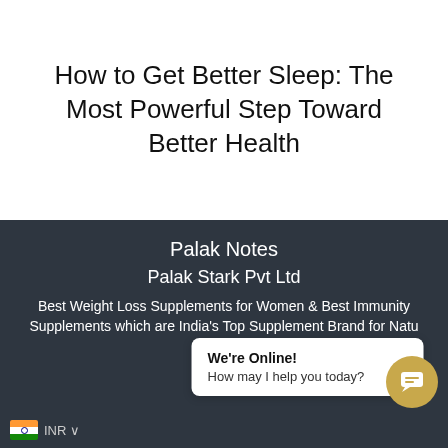How to Get Better Sleep: The Most Powerful Step Toward Better Health
Palak Notes
Palak Stark Pvt Ltd
Best Weight Loss Supplements for Women & Best Immunity Supplements which are India's Top Supplement Brand for Natu...
We're Online!
How may I help you today?
INR